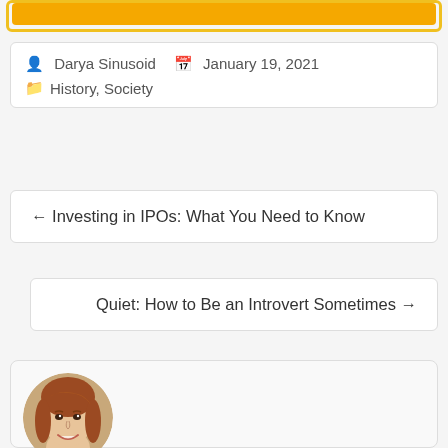Darya Sinusoid   January 19, 2021   History, Society
← Investing in IPOs: What You Need to Know
Quiet: How to Be an Introvert Sometimes →
[Figure (photo): Circular portrait photo of a woman with reddish-brown hair, smiling]